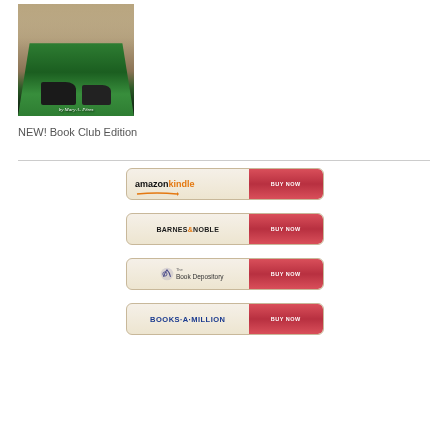[Figure (photo): Book cover image showing a woman in a green dress with high-heel shoes, with author name Mary A. Pérez at the bottom]
NEW! Book Club Edition
[Figure (other): Amazon Kindle BUY NOW button]
[Figure (other): Barnes & Noble BUY NOW button]
[Figure (other): The Book Depository BUY NOW button]
[Figure (other): Books-A-Million BUY NOW button]